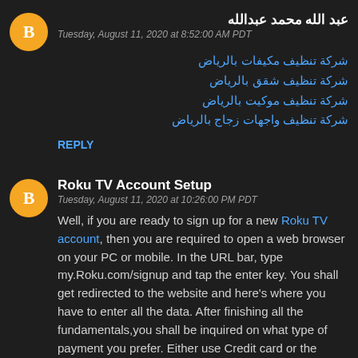[Figure (illustration): Orange circular avatar with white blogger 'B' icon for first commenter]
عبد الله محمد عبدالله
Tuesday, August 11, 2020 at 8:52:00 AM PDT
شركة تنظيف مكيفات بالرياض
شركة تنظيف شقق بالرياض
شركة تنظيف موكيت بالرياض
شركة تنظيف واجهات زجاج بالرياض
REPLY
[Figure (illustration): Orange circular avatar with white blogger 'B' icon for second commenter]
Roku TV Account Setup
Tuesday, August 11, 2020 at 10:26:00 PM PDT
Well, if you are ready to sign up for a new Roku TV account, then you are required to open a web browser on your PC or mobile. In the URL bar, type my.Roku.com/signup and tap the enter key. You shall get redirected to the website and here's where you have to enter all the data. After finishing all the fundamentals,you shall be inquired on what type of payment you prefer. Either use Credit card or the Paypal details to finish the process. In case of any queries with the Roku account setup, call the support team